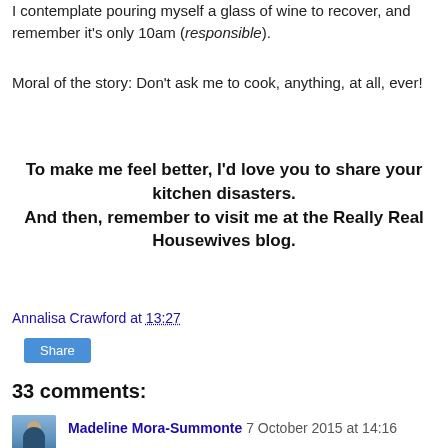I contemplate pouring myself a glass of wine to recover, and remember it's only 10am (responsible).
Moral of the story: Don't ask me to cook, anything, at all, ever!
To make me feel better, I'd love you to share your kitchen disasters.
And then, remember to visit me at the Really Real Housewives blog.
Annalisa Crawford at 13:27
Share
33 comments:
Madeline Mora-Summonte 7 October 2015 at 14:16